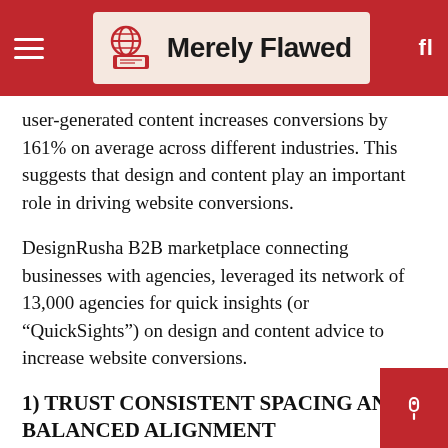Merely Flawed
user-generated content increases conversions by 161% on average across different industries. This suggests that design and content play an important role in driving website conversions.
DesignRusha B2B marketplace connecting businesses with agencies, leveraged its network of 13,000 agencies for quick insights (or “QuickSights”) on design and content advice to increase website conversions.
1) TRUST CONSISTENT SPACING AND BALANCED ALIGNMENT
Daniel HouleOwner of Azuro Digitalsuggests designers pay close attention to consistent sp and balanced alignment to create designs that